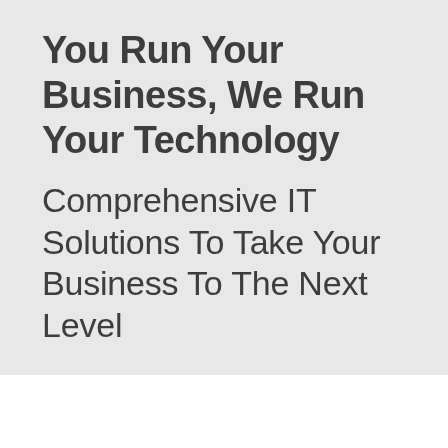You Run Your Business, We Run Your Technology
Comprehensive IT Solutions To Take Your Business To The Next Level